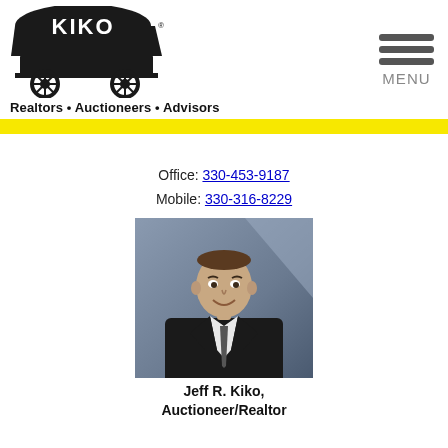[Figure (logo): KIKO logo with covered wagon and 'Realtors • Auctioneers • Advisors' tagline]
Office: 330-453-9187
Mobile: 330-316-8229
[Figure (photo): Professional headshot of Jeff R. Kiko, a man in a dark suit and tie, smiling, against a grey background]
Jeff R. Kiko, Auctioneer/Realtor